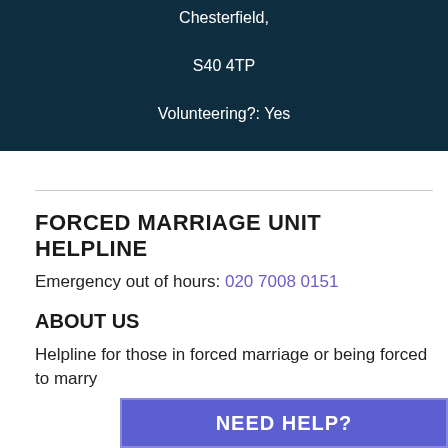Chesterfield,

S40 4TP

Volunteering?: Yes
FORCED MARRIAGE UNIT HELPLINE
Emergency out of hours: 020 7008 0151
ABOUT US
Helpline for those in forced marriage or being forced to marry
NEED HELP?